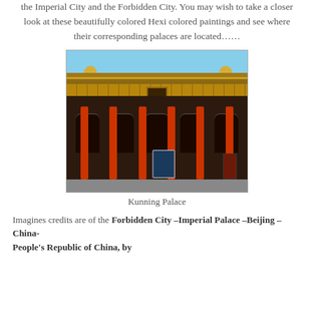the Imperial City and the Forbidden City. You may wish to take a closer look at these beautifully colored Hexi colored paintings and see where their corresponding palaces are located......
[Figure (photo): Photograph of Kunning Palace in the Forbidden City, Beijing, China. Shows traditional Chinese imperial architecture with red columns, yellow-tiled roof with golden ornaments, dark walls with arched openings, and a blue sky background. An information sign is visible in the foreground.]
Kunning Palace
Imagines credits are of the Forbidden City –Imperial Palace –Beijing – China- People's Republic of China, by...